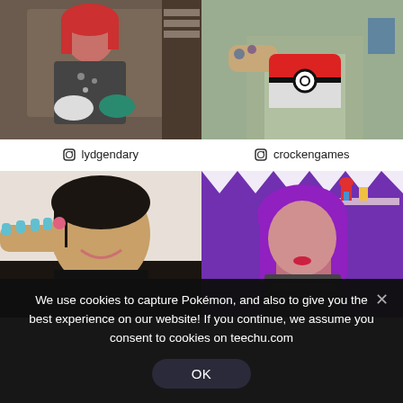[Figure (photo): Person with red hair wearing a gaming t-shirt and holding PlayStation controllers]
[Figure (photo): Person holding a Pokéball phone case with tattoos visible on their arm]
© lydgendary
© crockengames
[Figure (photo): Person smiling, wearing a black shirt, showing off a small accessory on their finger with colorful nails]
[Figure (photo): Person with long purple hair wearing a gaming t-shirt in a purple room with gaming collectibles in the background]
We use cookies to capture Pokémon, and also to give you the best experience on our website! If you continue, we assume you consent to cookies on teechu.com
OK